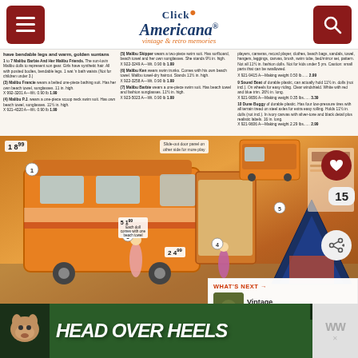Click Americana — vintage & retro memories
have bendable legs and warm, golden suntans
1 to 7 Malibu Barbie And Her Malibu Friends. The sun-lovin Malibu dolls represent on-gear. Girls have synthetic hair. All with posited bodies, bendable legs. (Not for children under 3.) (3) Malibu Francie wears a belted one-piece bathing suit. Has her own beach towel, sunglasses. 11½ in. high. X 922-3201 A—Wt. 0.90 lb 1.99 (4) Malibu P.J. wears a one-piece scoop neck swim suit. Has own beach towel, sunglasses. 11½ in. high. X 921-4320 A—Wt. 0.90 lb 1.99
(5) Malibu Skipper wears a two-piece swim suit. Has surfboard, beach towel and her own sunglasses. She stands 9½ in. high. X 922-3249 A—Wt. 0.90 lb 1.99 (6) Malibu Ken wears swim trunks. Comes with his own beach towel. Malibu tanner/dyer haircut. Stands 11½ in. high. X 922-3258 A—Wt. 0.90 lb 1.99 (7) Malibu Barbie wears a one-piece swim suit. Has beach towel and fashion sunglasses. 11½ in. high. X 923-5023 A—Wt. 0.90 lb 1.99
X 921-9415 A—Making weight 0.50 lb..... 2.99 9 Sound Boat of durable plastic, can actually hold 11½ in. dolls (not incl.). On wheels for easy riding. Clear windshield. White with red and blue trim. 26½ in. long. X 921-9656 A—Making weight 0.35 lbs..... 3.39 10 Dune Buggy of durable plastic. Has four low-pressure tires with all terrain tread on steel axles for extra easy rolling. Holds 11½ in. dolls (not incl.). In ivory canvas with silver-tone and black detail plus realistic labels. 16 in. long. X 921-9606 A—Making weight 2.29 lbs..... 2.99
[Figure (photo): Vintage Barbie Malibu camper van toy catalog page showing orange/yellow camper van, Barbie dolls posed in outdoor scene, camping tent and accessories. Price tags visible: $8.99, $4.99, $1.99. Slide-out door panel callout shown. Item numbers 1-5+ visible.]
Slide-out door panel on other side for more play
WHAT'S NEXT → Vintage needlepoint:...
HEAD OVER HEELS